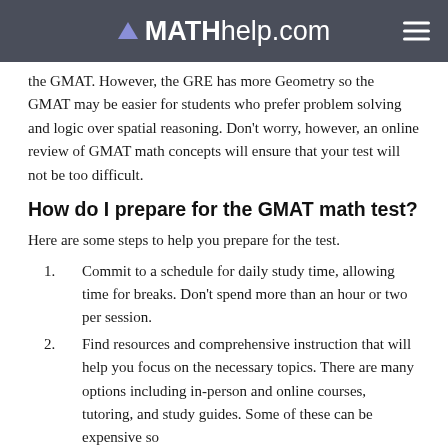MATHhelp.com
the GMAT. However, the GRE has more Geometry so the GMAT may be easier for students who prefer problem solving and logic over spatial reasoning. Don't worry, however, an online review of GMAT math concepts will ensure that your test will not be too difficult.
How do I prepare for the GMAT math test?
Here are some steps to help you prepare for the test.
Commit to a schedule for daily study time, allowing time for breaks. Don't spend more than an hour or two per session.
Find resources and comprehensive instruction that will help you focus on the necessary topics. There are many options including in-person and online courses, tutoring, and study guides. Some of these can be expensive so